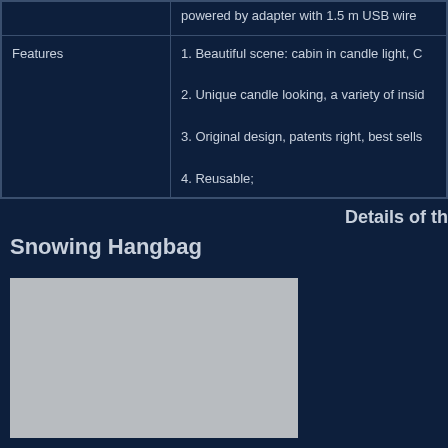|  | powered by adapter with 1.5 m USB wire |
| Features | 1. Beautiful scene: cabin in candle light, C
2. Unique candle looking, a variety of insid
3. Original design, patents right, best sells
4. Reusable; |
Details of the
Snowing Hangbag
[Figure (photo): Gray placeholder image for Snowing Hangbag product photo]